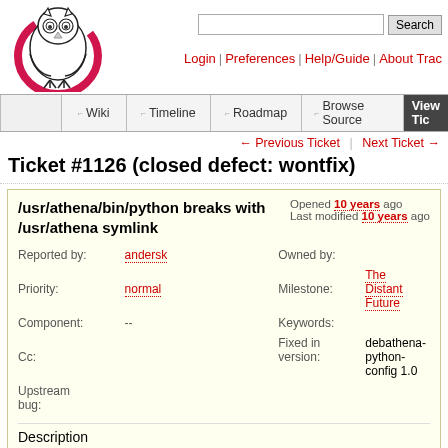[Figure (logo): Trac owl logo with pink circular brush stroke]
Search | Login | Preferences | Help/Guide | About Trac
Wiki | Timeline | Roadmap | Browse Source | View Tickets
← Previous Ticket | Next Ticket →
Ticket #1126 (closed defect: wontfix)
/usr/athena/bin/python breaks with /usr/athena symlink
Opened 10 years ago
Last modified 10 years ago
| Field | Value | Field | Value |
| --- | --- | --- | --- |
| Reported by: | andersk | Owned by: |  |
| Priority: | normal | Milestone: | The Distant Future |
| Component: | -- | Keywords: |  |
| Cc: |  | Fixed in version: | debathena-python-config 1.0 |
| Upstream bug: |  |  |  |
Description
debathena / python / jdreed   2011-09-21 16:42
     WTF?